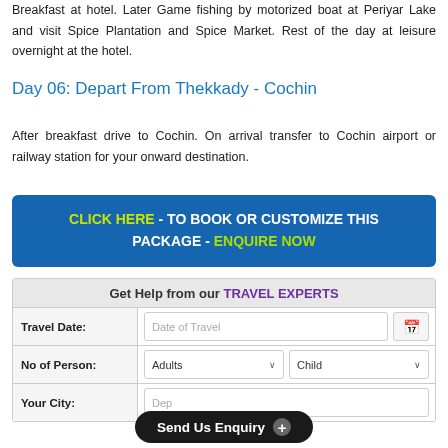Breakfast at hotel. Later Game fishing by motorized boat at Periyar Lake and visit Spice Plantation and Spice Market. Rest of the day at leisure overnight at the hotel.
Day 06: Depart From Thekkady - Cochin
After breakfast drive to Cochin. On arrival transfer to Cochin airport or railway station for your onward destination.
CLICK HERE - TO BOOK OR CUSTOMIZE THIS PACKAGE - ENQUIRE NOW
| Field | Input |
| --- | --- |
| Get Help from our TRAVEL EXPERTS |  |
| Travel Date: | Date of Travel |
| No of Person: | Adults | Child |
| Your City: | Dep... |
Send Us Enquiry +